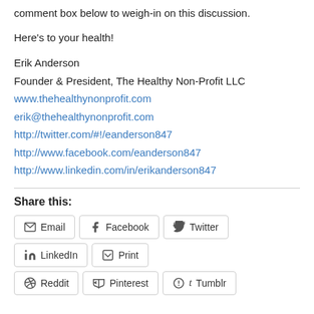comment box below to weigh-in on this discussion.
Here's to your health!
Erik Anderson
Founder & President, The Healthy Non-Profit LLC
www.thehealthynonprofit.com
erik@thehealthynonprofit.com
http://twitter.com/#!/eanderson847
http://www.facebook.com/eanderson847
http://www.linkedin.com/in/erikanderson847
Share this:
Email | Facebook | Twitter | LinkedIn | Print | Reddit | Pinterest | Tumblr